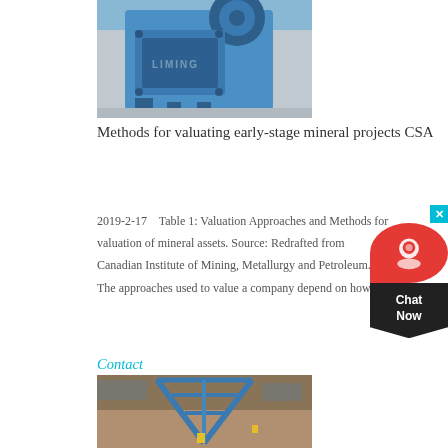[Figure (photo): Blue jaw crusher machine in an industrial factory setting, with a watermark reading 'LIMING' visible on the image.]
Methods for valuating early-stage mineral projects CSA
2019-2-17    Table 1: Valuation Approaches and Methods for valuation of mineral assets. Source: Redrafted from Canadian Institute of Mining, Metallurgy and Petroleum. The approaches used to value a company depend on how
Contact
[Figure (photo): Aerial/overhead view of blue mining equipment or conveyor structure on a construction or mining site with heavy machinery visible in the background.]